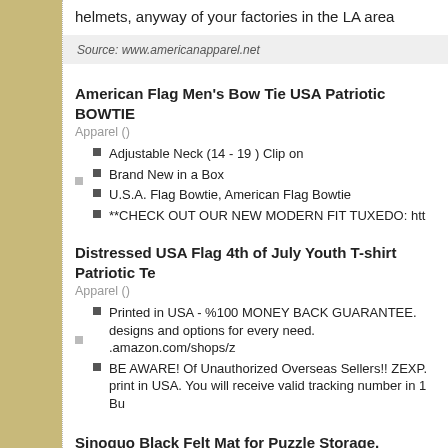helmets, anyway of your factories in the LA area
Source: www.americanapparel.net
American Flag Men's Bow Tie USA Patriotic BOWTIE
Apparel ()
Adjustable Neck (14 - 19 ) Clip on
Brand New in a Box
U.S.A. Flag Bowtie, American Flag Bowtie
**CHECK OUT OUR NEW MODERN FIT TUXEDO: htt
Distressed USA Flag 4th of July Youth T-shirt Patriotic Te
Apparel ()
Printed in USA - %100 MONEY BACK GUARANTEE. designs and options for every need. .amazon.com/shops/z
BE AWARE! Of Unauthorized Overseas Sellers!! ZEXP. print in USA. You will receive valid tracking number in 1 Bu
Sinoguo Black Felt Mat for Puzzle Storage, Puzzles Save